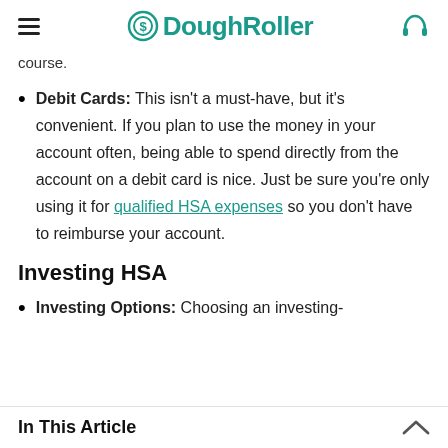DoughRoller
course.
Debit Cards: This isn't a must-have, but it's convenient. If you plan to use the money in your account often, being able to spend directly from the account on a debit card is nice. Just be sure you're only using it for qualified HSA expenses so you don't have to reimburse your account.
Investing HSA
Investing Options: Choosing an investing-
In This Article